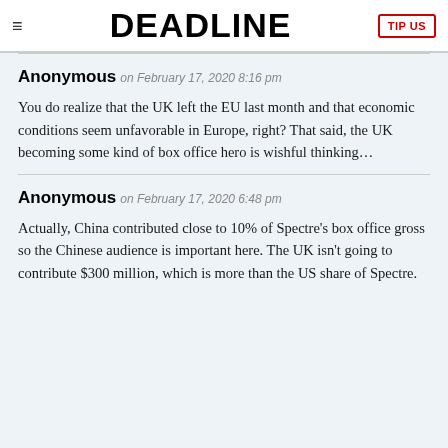DEADLINE | TIP US
Anonymous on February 17, 2020 8:16 pm

You do realize that the UK left the EU last month and that economic conditions seem unfavorable in Europe, right? That said, the UK becoming some kind of box office hero is wishful thinking…
Anonymous on February 17, 2020 6:48 pm

Actually, China contributed close to 10% of Spectre's box office gross so the Chinese audience is important here. The UK isn't going to contribute $300 million, which is more than the US share of Spectre.